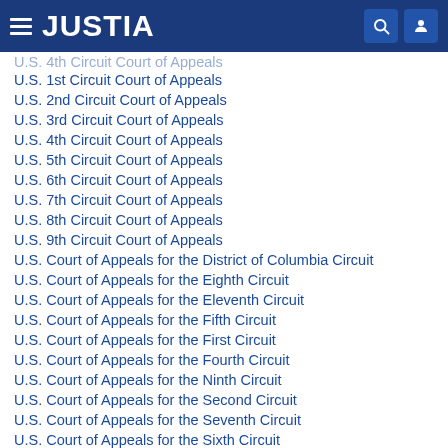JUSTIA
U.S. 4th Circuit Court of Appeals (partially visible at top)
U.S. 1st Circuit Court of Appeals
U.S. 2nd Circuit Court of Appeals
U.S. 3rd Circuit Court of Appeals
U.S. 4th Circuit Court of Appeals
U.S. 5th Circuit Court of Appeals
U.S. 6th Circuit Court of Appeals
U.S. 7th Circuit Court of Appeals
U.S. 8th Circuit Court of Appeals
U.S. 9th Circuit Court of Appeals
U.S. Court of Appeals for the District of Columbia Circuit
U.S. Court of Appeals for the Eighth Circuit
U.S. Court of Appeals for the Eleventh Circuit
U.S. Court of Appeals for the Fifth Circuit
U.S. Court of Appeals for the First Circuit
U.S. Court of Appeals for the Fourth Circuit
U.S. Court of Appeals for the Ninth Circuit
U.S. Court of Appeals for the Second Circuit
U.S. Court of Appeals for the Seventh Circuit
U.S. Court of Appeals for the Sixth Circuit